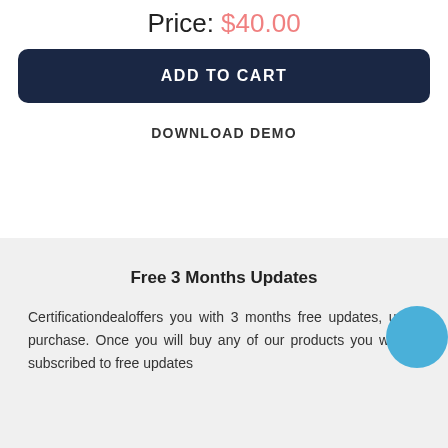Price: $40.00
ADD TO CART
DOWNLOAD DEMO
Free 3 Months Updates
Certificationdealoffers you with 3 months free updates, upon purchase. Once you will buy any of our products you will be subscribed to free updates